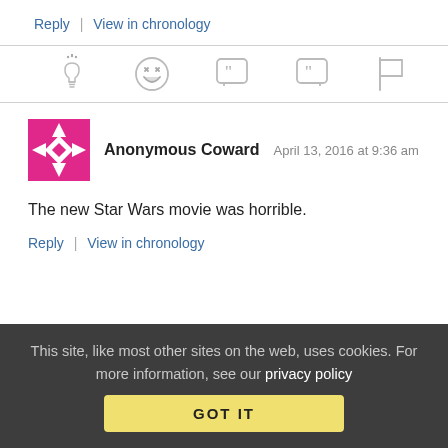Reply | View in chronology
[Figure (infographic): Row of five interactive icons: lightbulb, laughing emoji, open-quote speech bubble, close-quote speech bubble, flag]
[Figure (illustration): Pink square avatar with star/cross pattern for Anonymous Coward]
Anonymous Coward   April 13, 2016 at 9:36 am
The new Star Wars movie was horrible.
Reply | View in chronology
This site, like most other sites on the web, uses cookies. For more information, see our privacy policy
GOT IT